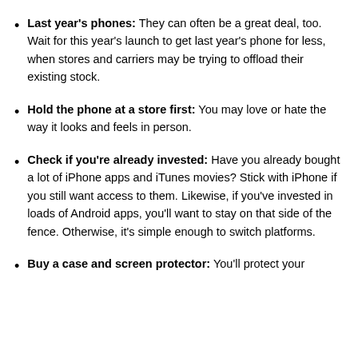Last year's phones: They can often be a great deal, too. Wait for this year's launch to get last year's phone for less, when stores and carriers may be trying to offload their existing stock.
Hold the phone at a store first: You may love or hate the way it looks and feels in person.
Check if you're already invested: Have you already bought a lot of iPhone apps and iTunes movies? Stick with iPhone if you still want access to them. Likewise, if you've invested in loads of Android apps, you'll want to stay on that side of the fence. Otherwise, it's simple enough to switch platforms.
Buy a case and screen protector: You'll protect your